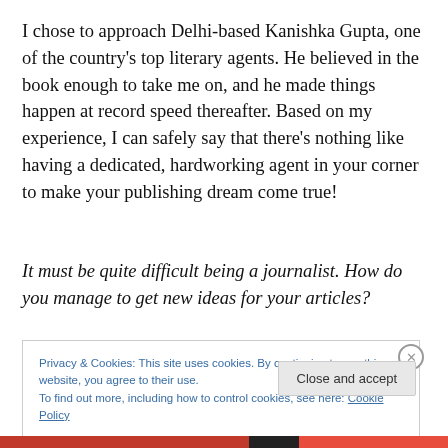I chose to approach Delhi-based Kanishka Gupta, one of the country's top literary agents. He believed in the book enough to take me on, and he made things happen at record speed thereafter. Based on my experience, I can safely say that there's nothing like having a dedicated, hardworking agent in your corner to make your publishing dream come true!
It must be quite difficult being a journalist. How do you manage to get new ideas for your articles?
Privacy & Cookies: This site uses cookies. By continuing to use this website, you agree to their use.
To find out more, including how to control cookies, see here: Cookie Policy
Close and accept